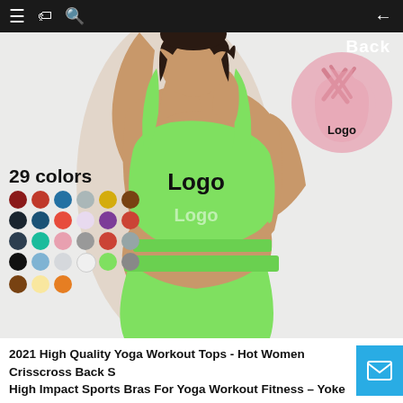[Figure (photo): Product listing screenshot showing a woman wearing a green sports bra and matching high-waist shorts, with arms raised. Overlay shows '29 colors' with color swatches, a back-view inset of a pink sports bra with crisscross straps, and 'Logo' text placeholders on the bra. Navigation bar at top.]
2021 High Quality Yoga Workout Tops - Hot Women Crisscross Back S High Impact Sports Bras For Yoga Workout Fitness – Yoke